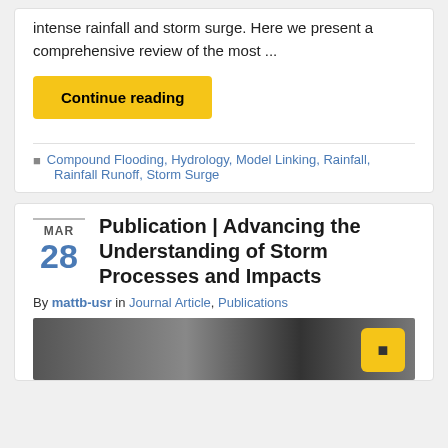intense rainfall and storm surge. Here we present a comprehensive review of the most ...
Continue reading
Compound Flooding, Hydrology, Model Linking, Rainfall, Rainfall Runoff, Storm Surge
Publication | Advancing the Understanding of Storm Processes and Impacts
By mattb-usr in Journal Article, Publications
[Figure (photo): Dark photograph of storm imagery with a yellow icon button in the bottom right corner]